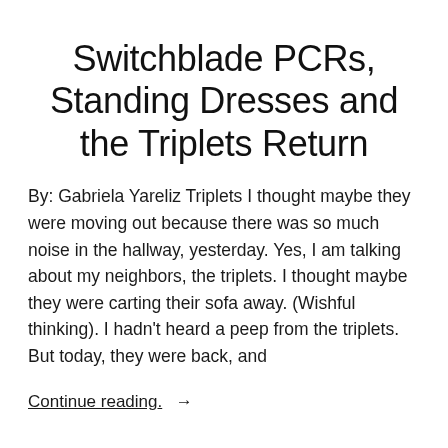Switchblade PCRs, Standing Dresses and the Triplets Return
By: Gabriela Yareliz Triplets I thought maybe they were moving out because there was so much noise in the hallway, yesterday. Yes, I am talking about my neighbors, the triplets. I thought maybe they were carting their sofa away. (Wishful thinking). I hadn't heard a peep from the triplets. But today, they were back, and
Continue reading  →